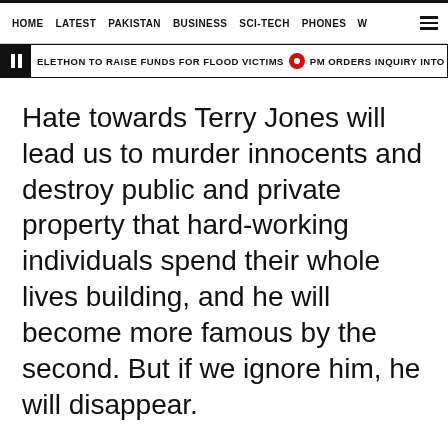HOME  LATEST  PAKISTAN  BUSINESS  SCI-TECH  PHONES  W
ELETHON TO RAISE FUNDS FOR FLOOD VICTIMS  •  PM ORDERS INQUIRY INTO DAMA
Hate towards Terry Jones will lead us to murder innocents and destroy public and private property that hard-working individuals spend their whole lives building, and he will become more famous by the second. But if we ignore him, he will disappear.